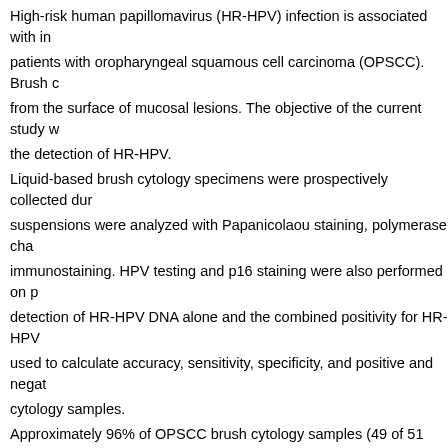High-risk human papillomavirus (HR-HPV) infection is associated with in patients with oropharyngeal squamous cell carcinoma (OPSCC). Brush c from the surface of mucosal lesions. The objective of the current study w the detection of HR-HPV.
Liquid-based brush cytology specimens were prospectively collected dur suspensions were analyzed with Papanicolaou staining, polymerase cha immunostaining. HPV testing and p16 staining were also performed on p detection of HR-HPV DNA alone and the combined positivity for HR-HPV used to calculate accuracy, sensitivity, specificity, and positive and negat cytology samples.
Approximately 96% of OPSCC brush cytology samples (49 of 51 sample squamous cells were found in 88% of samples (43 of 49 samples). HPV samples) and revealed HR-HPV DNA in approximately 54% of patients ( type 33 in 3 patients). Approximately 49% of brush cytology samples (20 expression. The accuracy, sensitivity, specificity, positive predictive value HR-HPV DNA-positive and p16-positive OPSCC samples were 88%, 839 Brush cytology appears to be a valid approach with which to determine th Cytopathol) 2015;123:732-738. © 2015 American Cancer Society.